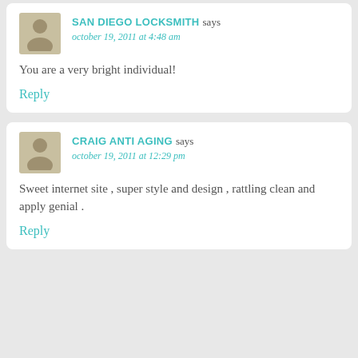SAN DIEGO LOCKSMITH says
october 19, 2011 at 4:48 am
You are a very bright individual!
Reply
CRAIG ANTI AGING says
october 19, 2011 at 12:29 pm
Sweet internet site , super style and design , rattling clean and apply genial .
Reply